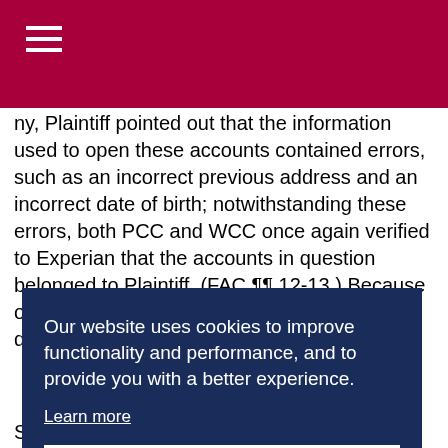[Red header bar with hamburger menu icon]
ny, Plaintiff pointed out that the information used to open these accounts contained errors, such as an incorrect previous address and an incorrect date of birth; notwithstanding these errors, both PCC and WCC once again verified to Experian that the accounts in question belonged to Plaintiff. (FAC ¶¶ 12-13.) Because of the inaccuracies that Defendants have disseminated to c[...], P[...], e[...] m to h[...]
Our website uses cookies to improve functionality and performance, and to provide you with a better experience.
Learn more
Got it
P[...] s a[...] C[...] USA, I[...]
States District Court for the Eastern District of